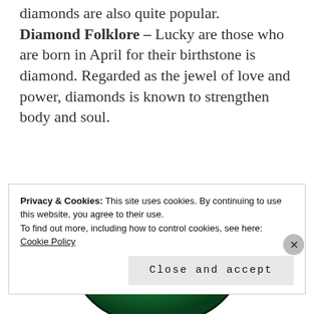diamonds are also quite popular. Diamond Folklore – Lucky are those who are born in April for their birthstone is diamond. Regarded as the jewel of love and power, diamonds is known to strengthen body and soul.
[Figure (photo): A green emerald gemstone, oval cut, faceted, vivid green color, shown from above with reflections visible on the facets.]
Privacy & Cookies: This site uses cookies. By continuing to use this website, you agree to their use.
To find out more, including how to control cookies, see here:
Cookie Policy